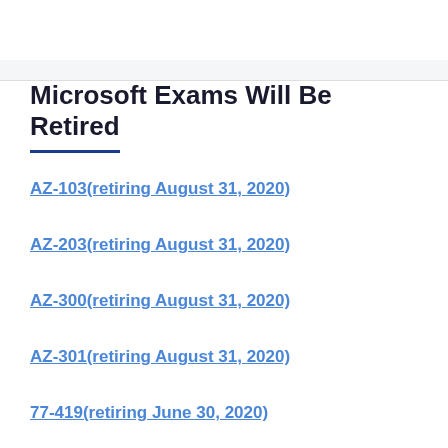Microsoft Exams Will Be Retired
AZ-103(retiring August 31, 2020)
AZ-203(retiring August 31, 2020)
AZ-300(retiring August 31, 2020)
AZ-301(retiring August 31, 2020)
77-419(retiring June 30, 2020)
70-333(retiring January 31, 2021)